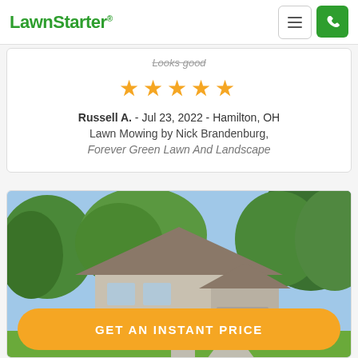LawnStarter
Looks good
[Figure (other): 5 gold star rating icons]
Russell A. - Jul 23, 2022 - Hamilton, OH
Lawn Mowing by Nick Brandenburg,
Forever Green Lawn And Landscape
[Figure (photo): Photo of a house with lawn, trees, and blue sky]
GET AN INSTANT PRICE